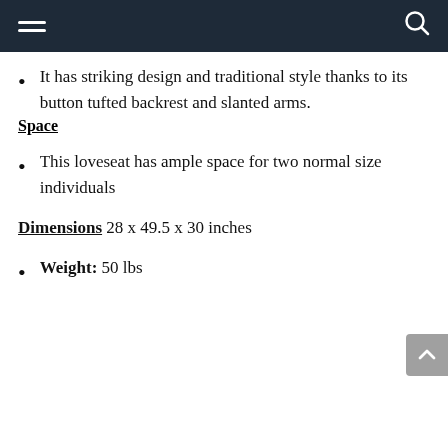Navigation bar with hamburger menu and search icon
It has striking design and traditional style thanks to its button tufted backrest and slanted arms.
Space
This loveseat has ample space for two normal size individuals
Dimensions 28 x 49.5 x 30 inches
Weight: 50 lbs